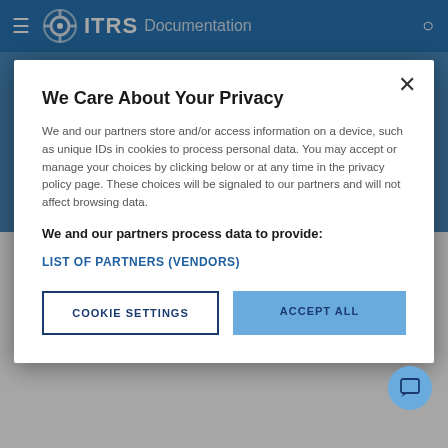≡ ITRS Documentation
We Care About Your Privacy
We and our partners store and/or access information on a device, such as unique IDs in cookies to process personal data. You may accept or manage your choices by clicking below or at any time in the privacy policy page. These choices will be signaled to our partners and will not affect browsing data.
We and our partners process data to provide:
LIST OF PARTNERS (VENDORS)
COOKIE SETTINGS
ACCEPT ALL
With this option enabled the gateway will use the sample time of the item being logged. This functionality requires a probe capable of sending the sample time to the data items.
The default behaviour of the gateway is to log the time the